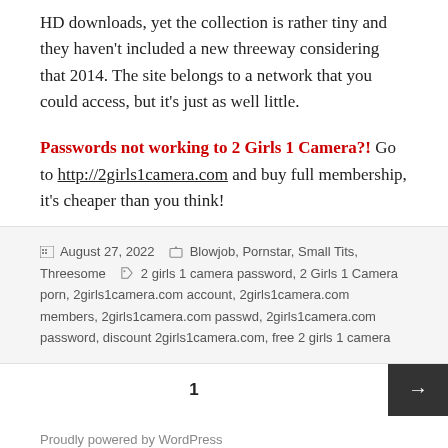HD downloads, yet the collection is rather tiny and they haven't included a new threeway considering that 2014. The site belongs to a network that you could access, but it's just as well little.
Passwords not working to 2 Girls 1 Camera?! Go to http://2girls1camera.com and buy full membership, it's cheaper than you think!
August 27, 2022  Blowjob, Pornstar, Small Tits, Threesome  2 girls 1 camera password, 2 Girls 1 Camera porn, 2girls1camera.com account, 2girls1camera.com members, 2girls1camera.com passwd, 2girls1camera.com password, discount 2girls1camera.com, free 2 girls 1 camera
1
Proudly powered by WordPress